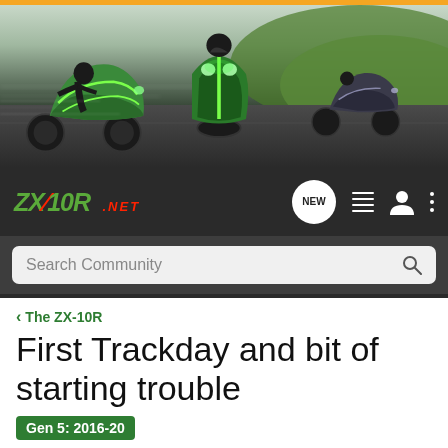[Figure (screenshot): ZX-10R.NET forum website header with motorcycle racing banner image showing three green Kawasaki motorcycles on a track, site logo, navigation icons, and search bar]
< The ZX-10R
First Trackday and bit of starting trouble
Gen 5: 2016-20
→ Jump to Latest
+ Follow
1 - 5 of 5 Posts